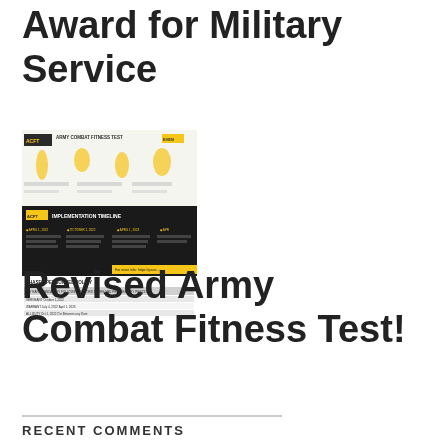Award for Military Service
[Figure (screenshot): ACFT Army Combat Fitness Test infographic showing implementation timeline and phased personnel policy table with dates and categories]
Revised Army Combat Fitness Test!
RECENT COMMENTS